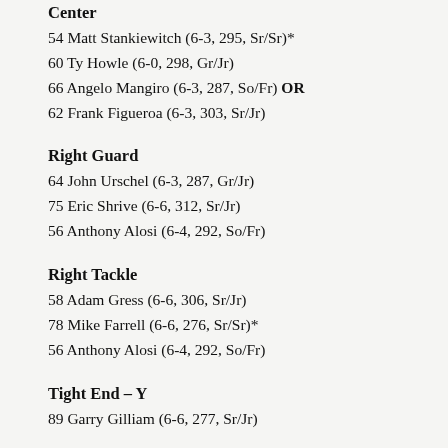Center
54 Matt Stankiewitch (6-3, 295, Sr/Sr)*
60 Ty Howle (6-0, 298, Gr/Jr)
66 Angelo Mangiro (6-3, 287, So/Fr) OR
62 Frank Figueroa (6-3, 303, Sr/Jr)
Right Guard
64 John Urschel (6-3, 287, Gr/Jr)
75 Eric Shrive (6-6, 312, Sr/Jr)
56 Anthony Alosi (6-4, 292, So/Fr)
Right Tackle
58 Adam Gress (6-6, 306, Sr/Jr)
78 Mike Farrell (6-6, 276, Sr/Sr)*
56 Anthony Alosi (6-4, 292, So/Fr)
Tight End – Y
89 Garry Gilliam (6-6, 277, Sr/Jr)